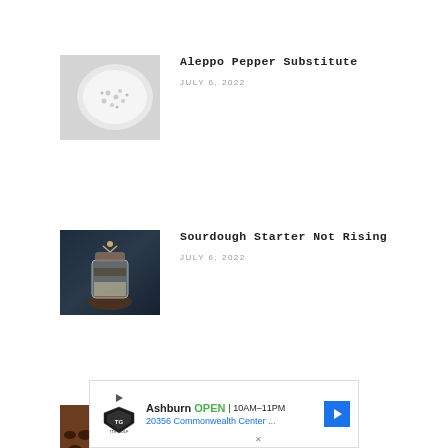[Figure (photo): White powder/salt in a white bowl or cup, close-up view]
Aleppo Pepper Substitute
JULY 6, 2022
[Figure (photo): Glass jar of sourdough starter on a wooden surface with dark blue fabric background]
Sourdough Starter Not Rising
JULY 6, 2022
[Figure (photo): Chocolate chips in a wooden bowl with a wooden spoon]
What Is Semi-Sweet Chocolate?
JULY 5, 2022
[Figure (other): Advertisement: Topgolf Ashburn OPEN 10AM-11PM, 20356 Commonwealth Center...]